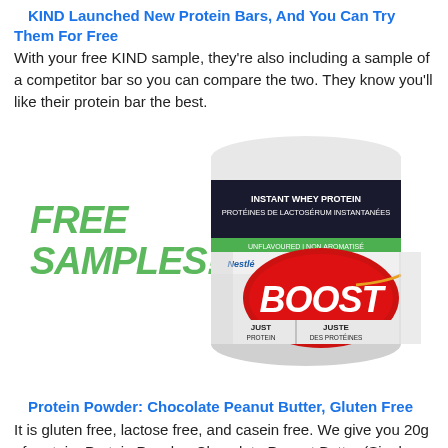KIND Launched New Protein Bars, And You Can Try Them For Free
With your free KIND sample, they're also including a sample of a competitor bar so you can compare the two. They know you'll like their protein bar the best.
[Figure (photo): Photo of a Boost Just Protein Instant Whey Protein can (Unflavoured/Non Aromatisé, Nestlé) with green text FREE SAMPLES! overlaid on the left side of the image.]
Protein Powder: Chocolate Peanut Butter, Gluten Free
It is gluten free, lactose free, and casein free. We give you 20g of protein. Protein Powder: Chocolate Peanut Butter (Single Serving Stick Pack Sample).